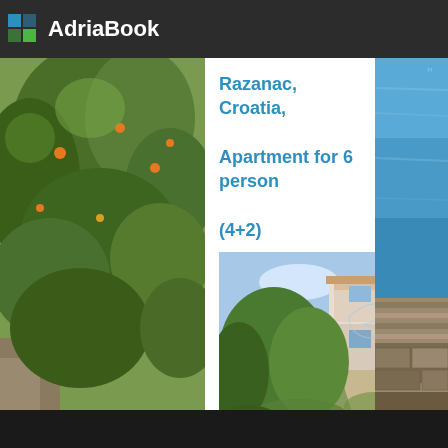AdriaBook
Razanac, Croatia, Apartment for 6 person (4+2)
[Figure (photo): Exterior view of a multi-story white apartment building with large olive or citrus trees lining the entrance path, blue sky in background]
facilities Holiday apartment: bedroomNo.1 double bedroomNo.2 double room , double bed , laminate unit ; Tiled kitchen table and chairs for every person electric cooker, number of rings: 2, oven, refrigera